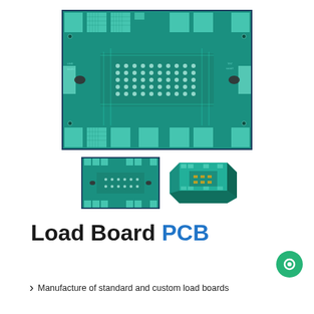[Figure (photo): Large PCB load board top view showing green circuit board with multiple connector pads arranged around edges and central IC area with solder points and traces]
[Figure (photo): Smaller thumbnail of PCB load board top view with border]
[Figure (photo): Angled perspective photo of PCB load board showing 3D view]
Load Board PCB
Manufacture of standard and custom load boards